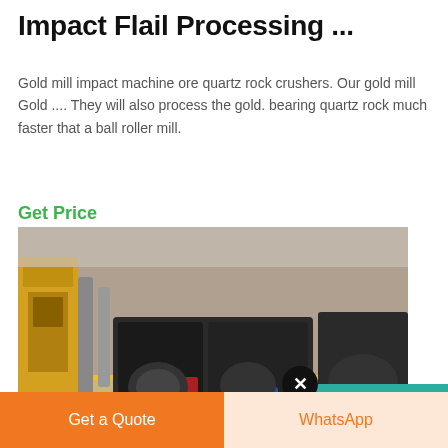Impact Flail Processing ...
Gold mill impact machine ore quartz rock crushers. Our gold mill Gold .... They will also process the gold. bearing quartz rock much faster that a ball roller mill.
Get Price
[Figure (screenshot): Screenshot of a product page showing industrial impact flail processing machinery with overlaid chat popup ('Free chat with us online' with a customer service representative photo and 'CHAT NOW' button), and a teal right panel showing '24/7 Online', a headset photo, 'Have any requests, click here.' text, and a 'Quotation' button.]
Get a Quote
WhatsApp